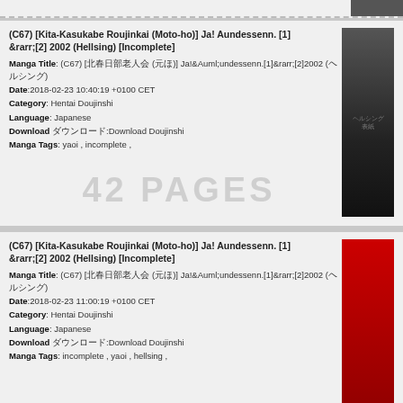(C67) [Kita-Kasukabe Roujinkai (Moto-ho)] Ja! Aundessenn. [1] &rarr;[2] 2002 (Hellsing) [Incomplete]
Manga Title: (C67) [北春日部老人会 (元ほ)] Ja!&Auml;undessenn.[1]&rarr;[2]2002 (ヘルシング)
Date:2018-02-23 10:40:19 +0100 CET
Category: Hentai Doujinshi
Language: Japanese
Download ダウンロード:Download Doujinshi
Manga Tags: yaoi, incomplete,
(C67) [Kita-Kasukabe Roujinkai (Moto-ho)] Ja! Aundessenn. [1] &rarr;[2] 2002 (Hellsing) [Incomplete]
Manga Title: (C67) [北春日部老人会 (元ほ)] Ja!&Auml;undessenn.[1]&rarr;[2]2002 (ヘルシング)
Date:2018-02-23 11:00:19 +0100 CET
Category: Hentai Doujinshi
Language: Japanese
Download ダウンロード:Download Doujinshi
Manga Tags: incomplete, yaoi, hellsing,